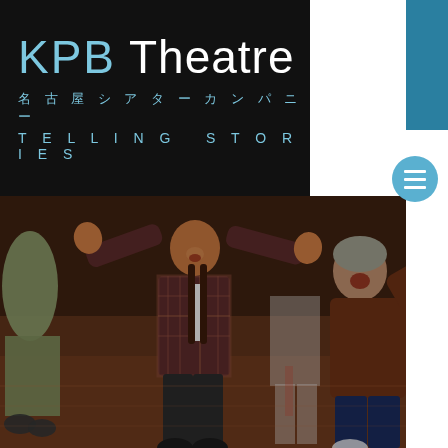KPB Theatre 名古屋シアターカンパニー TELLING STORIES
[Figure (photo): Theater performers on stage — center figure is a young woman with arms raised wide, wearing a plaid jacket and white tie, mid-performance. Other performers visible around her on a wooden stage floor.]